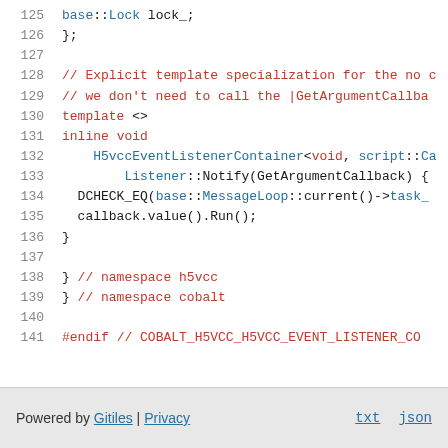125   base::Lock lock_;
126   };
127
128   // Explicit template specialization for the no c...
129   // we don't need to call the |GetArgumentCallba...
130   template <>
131   inline void
132       H5vccEventListenerContainer<void, script::Ca...
133           Listener::Notify(GetArgumentCallback) {
134     DCHECK_EQ(base::MessageLoop::current()->task_...
135     callback.value().Run();
136   }
137
138   }  // namespace h5vcc
139   }  // namespace cobalt
140
141   #endif  // COBALT_H5VCC_H5VCC_EVENT_LISTENER_CO...
Powered by Gitiles | Privacy    txt  json